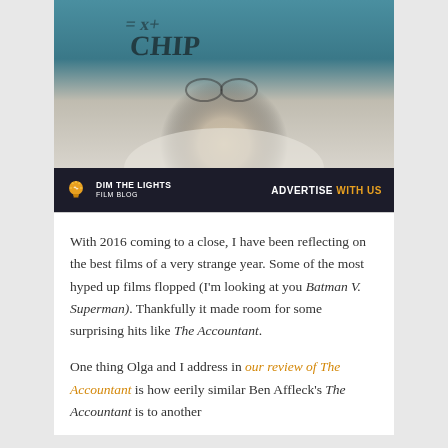[Figure (photo): Close-up of a man's face with glasses and handwritten text visible reflected on a glass surface in front of him. Teal/blue tinted background. Still from the movie The Accountant.]
[Figure (infographic): Dark banner advertisement for Dim The Lights Film Blog with lightbulb logo on the left and 'ADVERTISE WITH US' text on the right in white and yellow.]
With 2016 coming to a close, I have been reflecting on the best films of a very strange year. Some of the most hyped up films flopped (I'm looking at you Batman V. Superman). Thankfully it made room for some surprising hits like The Accountant.
One thing Olga and I address in our review of The Accountant is how eerily similar Ben Affleck's The Accountant is to another